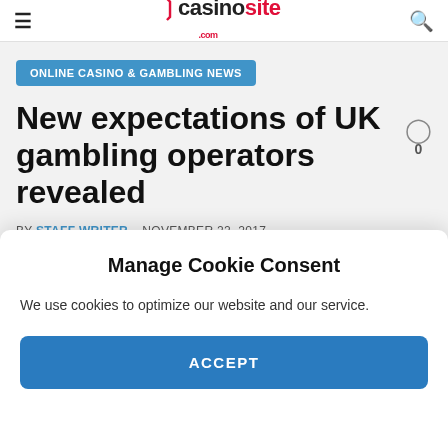≡ casinosite.com 🔍
ONLINE CASINO & GAMBLING NEWS
New expectations of UK gambling operators revealed
BY STAFF WRITER – NOVEMBER 22, 2017 – IN ONLINE CASINO & GAMBLING NEWS
0
Manage Cookie Consent
We use cookies to optimize our website and our service.
ACCEPT